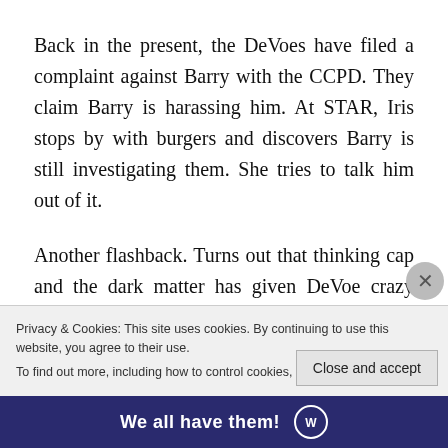Back in the present, the DeVoes have filed a complaint against Barry with the CCPD. They claim Barry is harassing him. At STAR, Iris stops by with burgers and discovers Barry is still investigating them. She tries to talk him out of it.
Another flashback. Turns out that thinking cap and the dark matter has given DeVoe crazy intelligence. It also causes him to have a horrible seizure. Meanwhile in the present, Barry figures out that the samuroid has a camera in it and he can connect to the DeVoe house to see what he...
Privacy & Cookies: This site uses cookies. By continuing to use this website, you agree to their use.
To find out more, including how to control cookies, see here: Cookie Policy
[Figure (other): Bottom advertisement banner with text 'We all have them!' and a logo on a dark navy background]